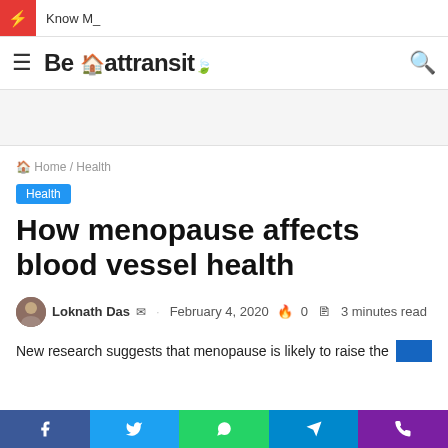⚡ Know M_
☰ Be 🏠 attransit 🍃 🔍
🏠 Home / Health
Health
How menopause affects blood vessel health
Loknath Das ✉ · February 4, 2020 🔥 0 📄 3 minutes read
New research suggests that menopause is likely to raise the
Facebook Twitter WhatsApp Telegram Phone